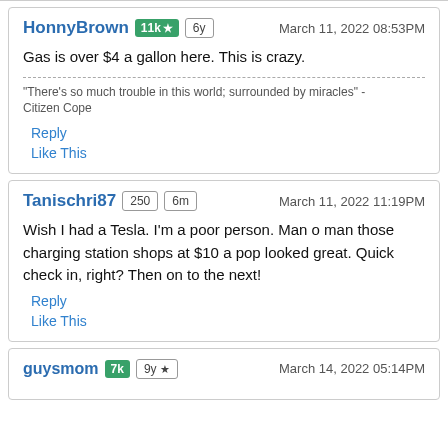HonnyBrown | 11k ★ | 6y | March 11, 2022 08:53PM
Gas is over $4 a gallon here. This is crazy.
"There's so much trouble in this world; surrounded by miracles" - Citizen Cope
Reply
Like This
Tanischri87 | 250 | 6m | March 11, 2022 11:19PM
Wish I had a Tesla. I'm a poor person. Man o man those charging station shops at $10 a pop looked great. Quick check in, right? Then on to the next!
Reply
Like This
guysmom | 7k | 9y ★ | March 14, 2022 05:14PM